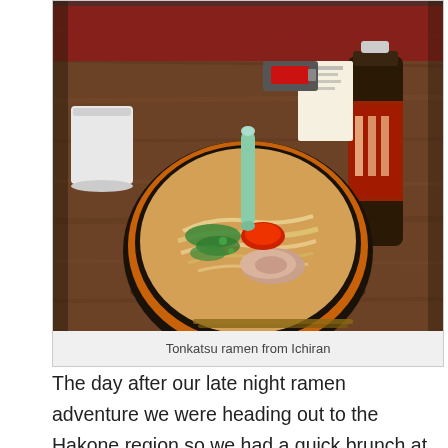[Figure (photo): Photo of a bowl of Tonkatsu ramen from Ichiran restaurant, viewed from above on a wooden table. The bowl has a dark decorative rim with orange patterns, filled with pale broth, noodles, green onions, red spice, and sliced pork. A small mint-green sauce cup is inserted into the bowl. A white ceramic cup is on the left side, and a bottle of dark Japanese tea is on the right. In the background is a red restaurant partition.]
Tonkatsu ramen from Ichiran
The day after our late night ramen adventure we were heading out to the Hakone region so we had a quick brunch at what appeared to be a hole in the wall soba noodle restaurant in Ginza – Yomoda Soba Ginza. This was my first experience of ordering food at the vending machines, an ingenious invention! The